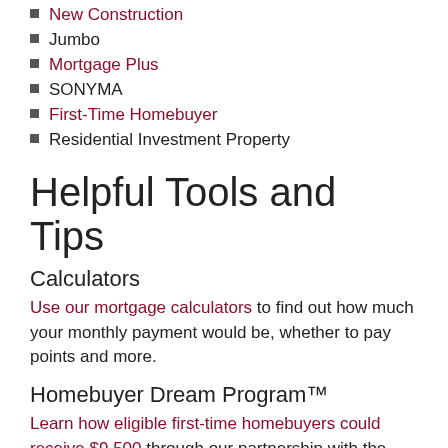New Construction
Jumbo
Mortgage Plus
SONYMA
First-Time Homebuyer
Residential Investment Property
Helpful Tools and Tips
Calculators
Use our mortgage calculators to find out how much your monthly payment would be, whether to pay points and more.
Homebuyer Dream Program™
Learn how eligible first-time homebuyers could receive $9,500 through our partnership with the Federal Home Loan Bank of New York.
Demo...